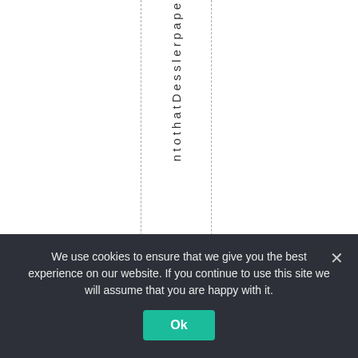ntothatDesslerpape
We use cookies to ensure that we give you the best experience on our website. If you continue to use this site we will assume that you are happy with it.